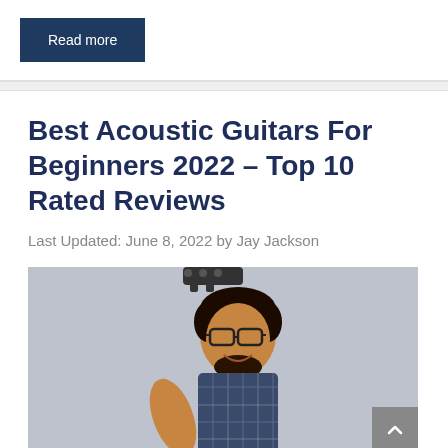Read more
Best Acoustic Guitars For Beginners 2022 – Top 10 Rated Reviews
Last Updated: June 8, 2022 by Jay Jackson
[Figure (photo): A smiling young man with glasses and a beard holding a guitar, wearing a plaid shirt, photographed from below against a gray background.]